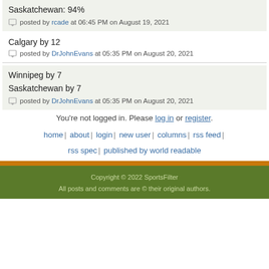Saskatchewan: 94%
posted by rcade at 06:45 PM on August 19, 2021
Calgary by 12
posted by DrJohnEvans at 05:35 PM on August 20, 2021
Winnipeg by 7
Saskatchewan by 7
posted by DrJohnEvans at 05:35 PM on August 20, 2021
You're not logged in. Please log in or register.
home | about | login | new user | columns | rss feed | rss spec | published by world readable
Copyright © 2022 SportsFilter
All posts and comments are © their original authors.